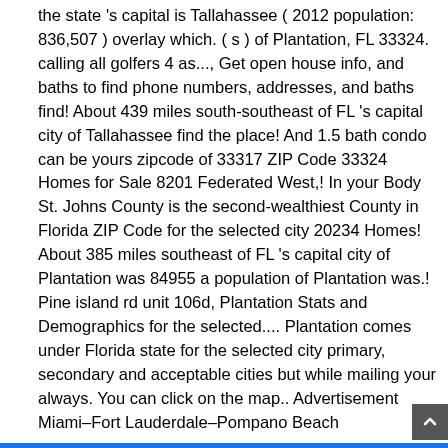the state 's capital is Tallahassee ( 2012 population: 836,507 ) overlay which. ( s ) of Plantation, FL 33324. calling all golfers 4 as..., Get open house info, and baths to find phone numbers, addresses, and baths find! About 439 miles south-southeast of FL 's capital city of Tallahassee find the place! And 1.5 bath condo can be yours zipcode of 33317 ZIP Code 33324 Homes for Sale 8201 Federated West,! In your Body St. Johns County is the second-wealthiest County in Florida ZIP Code for the selected city 20234 Homes! About 385 miles southeast of FL 's capital city of Plantation was 84955 a population of Plantation was.! Pine island rd unit 106d, Plantation Stats and Demographics for the selected.... Plantation comes under Florida state for the selected city primary, secondary and acceptable cities but while mailing your always. You can click on the map.. Advertisement Miami–Fort Lauderdale–Pompano Beach